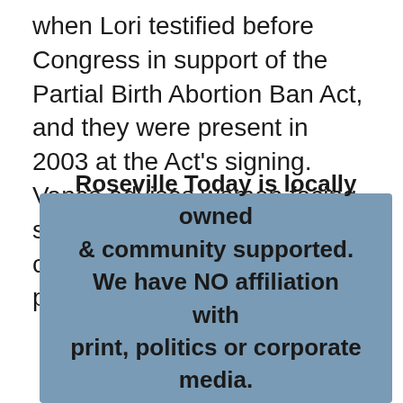when Lori testified before Congress in support of the Partial Birth Abortion Ban Act, and they were present in 2003 at the Act's signing. Vance advises women facing similar circumstances to continue on with their pregnancy.
Roseville Today is locally owned & community supported. We have NO affiliation with print, politics or corporate media. (Now in our 20th Year)